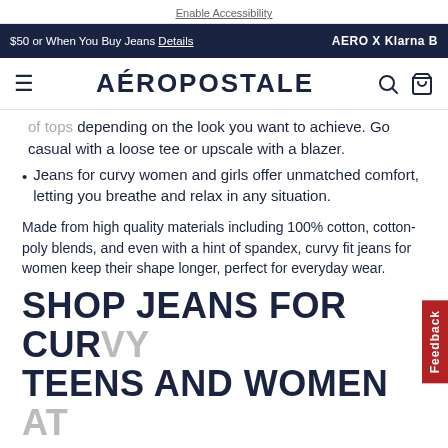Enable Accessibility
$50 or When You Buy Jeans  Details    AERO X Klarna B
AÉROPOSTALE
of tops depending on the look you want to achieve. Go casual with a loose tee or upscale with a blazer.
Jeans for curvy women and girls offer unmatched comfort, letting you breathe and relax in any situation.
Made from high quality materials including 100% cotton, cotton-poly blends, and even with a hint of spandex, curvy fit jeans for women keep their shape longer, perfect for everyday wear.
SHOP JEANS FOR CURVY TEENS AND WOMEN AT AEROPOSTALE